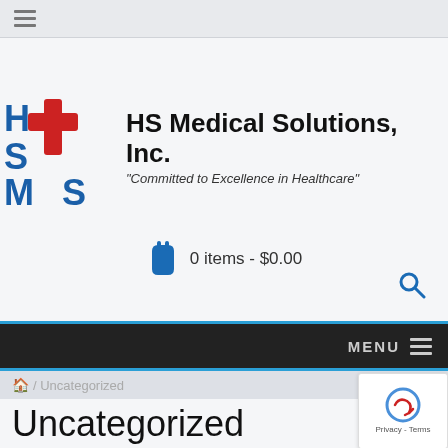[Figure (logo): HS Medical Solutions, Inc. logo with HSMS letters in blue and a red cross symbol, company name and tagline]
0 items - $0.00
MENU
Home / Uncategorized
Uncategorized